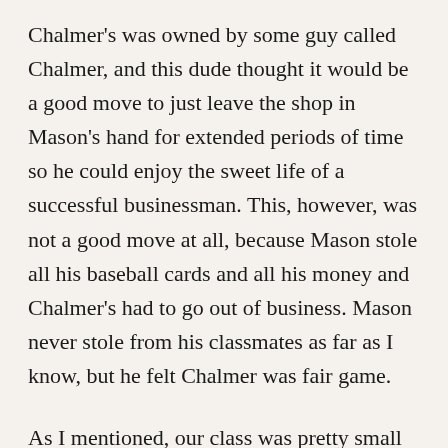Chalmer's was owned by some guy called Chalmer, and this dude thought it would be a good move to just leave the shop in Mason's hand for extended periods of time so he could enjoy the sweet life of a successful businessman. This, however, was not a good move at all, because Mason stole all his baseball cards and all his money and Chalmer's had to go out of business. Mason never stole from his classmates as far as I know, but he felt Chalmer was fair game.
As I mentioned, our class was pretty small and John Innes, who joined in middle school, and I got to know Mason pretty quickly. High school life can be a little competitive, but it can also be...